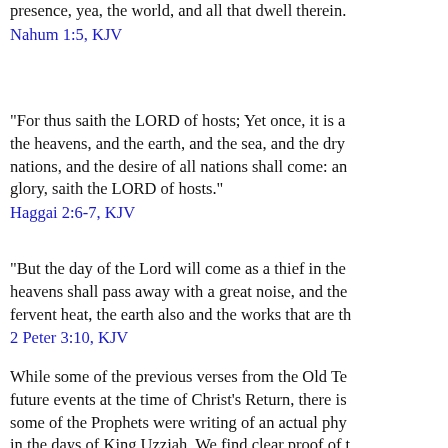presence, yea, the world, and all that dwell therein.
Nahum 1:5, KJV
“For thus saith the LORD of hosts; Yet once, it is a little while, and I will shake the heavens, and the earth, and the sea, and the dry land; And I will shake all nations, and the desire of all nations shall come: and I will fill this house with glory, saith the LORD of hosts.”
Haggai 2:6-7, KJV
“But the day of the Lord will come as a thief in the night; in the which the heavens shall pass away with a great noise, and the elements shall melt with fervent heat, the earth also and the works that are therein shall be burned up.
2 Peter 3:10, KJV
While some of the previous verses from the Old Testament may speak of future events at the time of Christ’s Return, there is good reason to think some of the Prophets were writing of an actual physical earthquake that occurred in the days of King Uzziah. We find clear proof of this in the book of Zechariah, where both Amos and Zechariah, two of the minor